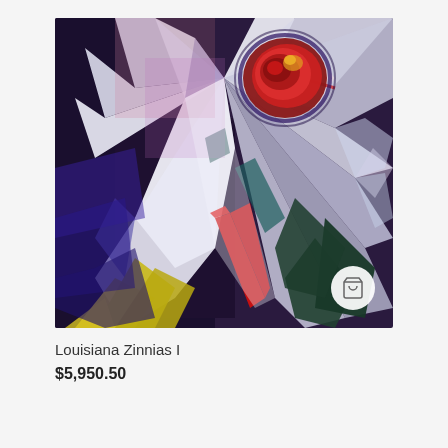[Figure (photo): Abstract expressionist painting of a large flower (zinnia) with white petals radiating from a red and multi-colored center. The painting features bold brushstrokes in purple, yellow, green, red, white, and dark tones. A shopping cart icon button appears in the lower-right corner of the image.]
Louisiana Zinnias I
$5,950.50